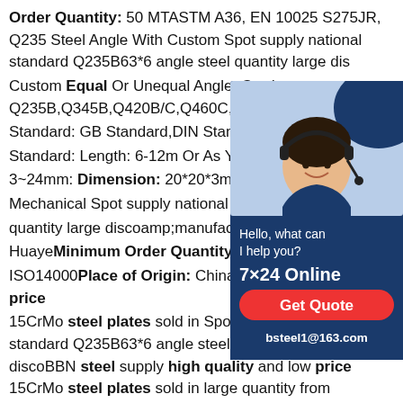Order Quantity: 50 MTASTM A36, EN 10025 S275JR, Q235 Steel Angle With Custom Spot supply national standard Q235B63*6 angle steel quantity large dis Custom Equal Or Unequal Angle: Grade Q235B,Q345B,Q420B/C,Q460C,SS400/ S Standard: GB Standard,DIN Standard,EN Standard: Length: 6-12m Or As Your Req 3~24mm: Dimension: 20*20*3mm-200* Mechanical Spot supply national standard quantity large discoamp;manufacture,Ste HuyaeMinimum Order Quantity: 50 MT ISO14000Place of Origin: ChinaHigh quality and low price 15CrMo steel plates sold in Spot supply national standard Q235B63*6 angle steel quantity large discoBBN steel supply high quality and low price 15CrMo steel plates sold in large quantity from manufacturer. BBN steel supply both standard size 15CrMo steel plates and non-standard size 15CrMo steel plates
[Figure (photo): Chat widget with customer service agent photo, 'Hello, what can I help you?', '7x24 Online', 'Get Quote' button, and email bsteel1@163.com on dark blue background]